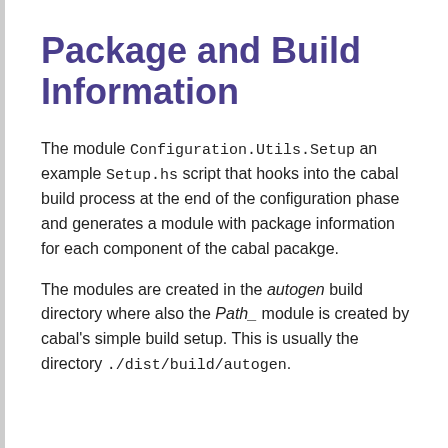Package and Build Information
The module Configuration.Utils.Setup an example Setup.hs script that hooks into the cabal build process at the end of the configuration phase and generates a module with package information for each component of the cabal pacakge.
The modules are created in the autogen build directory where also the Path_ module is created by cabal's simple build setup. This is usually the directory ./dist/build/autogen.